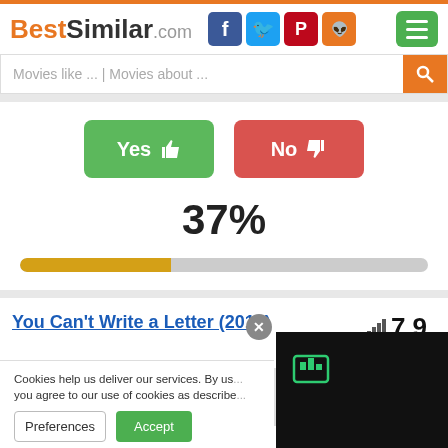BestSimilar.com
Movies like ... | Movies about ...
[Figure (other): Yes thumbs-up button (green) and No thumbs-down button (red) vote buttons]
37%
[Figure (other): Progress bar showing 37% fill in yellow/gold color on grey background]
You Can't Write a Letter (2013)
7.9
28
[Figure (photo): Movie thumbnail showing partial text LES NOUS]
Cookies help us deliver our services. By us... you agree to our use of cookies as describe...
Preferences
Accept